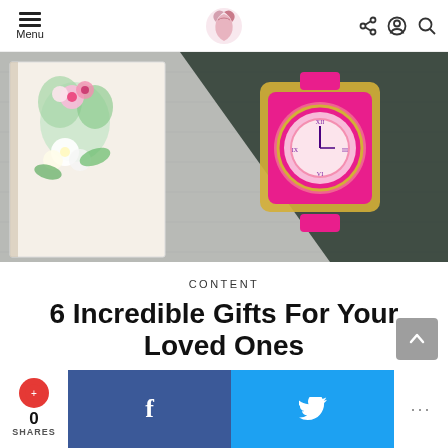Menu | [logo] | [share] [user] [search]
[Figure (photo): Flatlay photo showing a floral notebook/diary and a pink-strapped gold watch on a wooden surface]
CONTENT
6 Incredible Gifts For Your Loved Ones
0 SHARES | [Facebook] | [Twitter] | ...